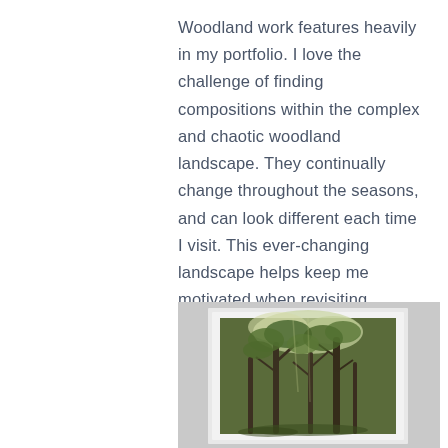Woodland work features heavily in my portfolio. I love the challenge of finding compositions within the complex and chaotic woodland landscape. They continually change throughout the seasons, and can look different each time I visit. This ever-changing landscape helps keep me motivated when revisiting locations throughout the year.
[Figure (photo): A framed photograph of a woodland scene with trees and green foliage, displayed against a light grey wall background.]